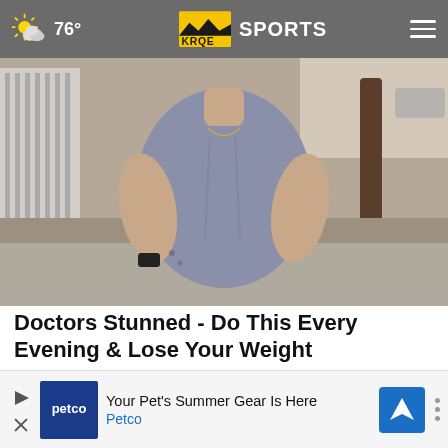76° KRQE SPORTS
[Figure (photo): Woman wearing grey scrubs/athletic wear standing outdoors near a fence and tree]
Doctors Stunned - Do This Every Evening & Lose Your Weight
Daily Health Tips
[Figure (other): Close button (X) circle]
[Figure (other): Petco advertisement banner: Your Pet's Summer Gear Is Here - Petco]